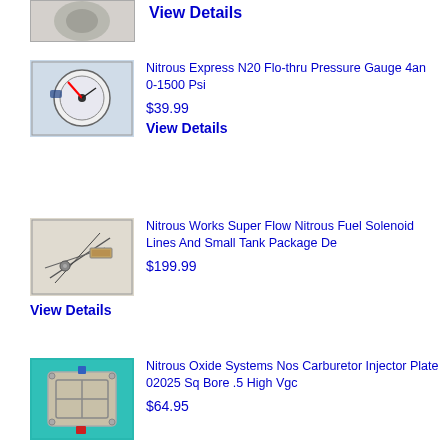[Figure (photo): Partial top of a product image, cropped at top]
View Details
[Figure (photo): Nitrous Express pressure gauge on a surface]
Nitrous Express N20 Flo-thru Pressure Gauge 4an 0-1500 Psi
$39.99
View Details
[Figure (photo): Nitrous Works nitrous fuel solenoid lines and small tank package]
Nitrous Works Super Flow Nitrous Fuel Solenoid Lines And Small Tank Package De
$199.99
View Details
[Figure (photo): Nitrous Oxide Systems carburetor injector plate on teal background]
Nitrous Oxide Systems Nos Carburetor Injector Plate 02025 Sq Bore .5 High Vgc
$64.95